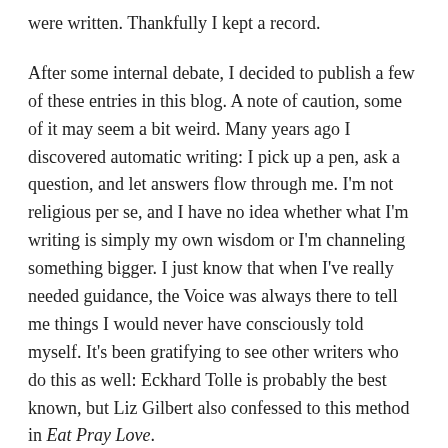were written. Thankfully I kept a record.
After some internal debate, I decided to publish a few of these entries in this blog. A note of caution, some of it may seem a bit weird. Many years ago I discovered automatic writing: I pick up a pen, ask a question, and let answers flow through me. I'm not religious per se, and I have no idea whether what I'm writing is simply my own wisdom or I'm channeling something bigger. I just know that when I've really needed guidance, the Voice was always there to tell me things I would never have consciously told myself. It's been gratifying to see other writers who do this as well: Eckhard Tolle is probably the best known, but Liz Gilbert also confessed to this method in Eat Pray Love.
I worry about posting stuff like this. I worry that it will be too woo woo... you know what I mean by that, right? I'm an uber-logical person who ticks the "spiritual but not